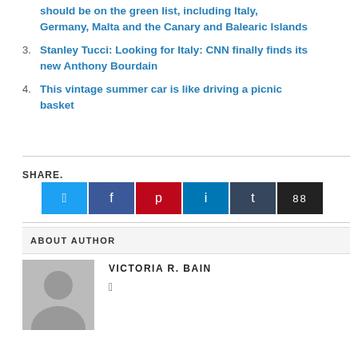should be on the green list, including Italy, Germany, Malta and the Canary and Balearic Islands
3. Stanley Tucci: Looking for Italy: CNN finally finds its new Anthony Bourdain
4. This vintage summer car is like driving a picnic basket
SHARE.
ABOUT AUTHOR
VICTORIA R. BAIN